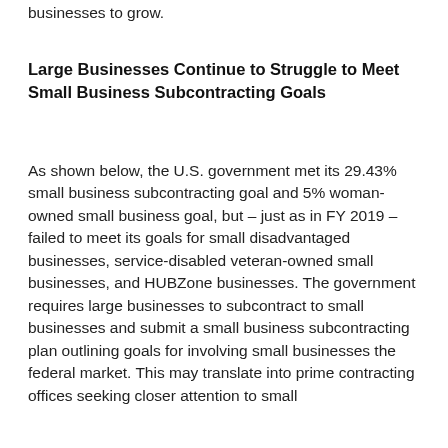businesses to grow.
Large Businesses Continue to Struggle to Meet Small Business Subcontracting Goals
As shown below, the U.S. government met its 29.43% small business subcontracting goal and 5% woman-owned small business goal, but – just as in FY 2019 – failed to meet its goals for small disadvantaged businesses, service-disabled veteran-owned small businesses, and HUBZone businesses. The government requires large businesses to subcontract to small businesses and submit a small business subcontracting plan outlining goals for involving small businesses the federal market. This may translate into prime contracting offices seeking closer attention to small